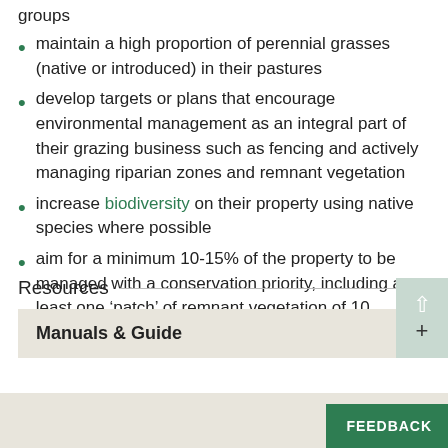groups
maintain a high proportion of perennial grasses (native or introduced) in their pastures
develop targets or plans that encourage environmental management as an integral part of their grazing business such as fencing and actively managing riparian zones and remnant vegetation
increase biodiversity on their property using native species where possible
aim for a minimum 10-15% of the property to be managed with a conservation priority, including at least one ‘patch’ of remnant vegetation of 10 hectares or more.
Resources
Manuals & Guide